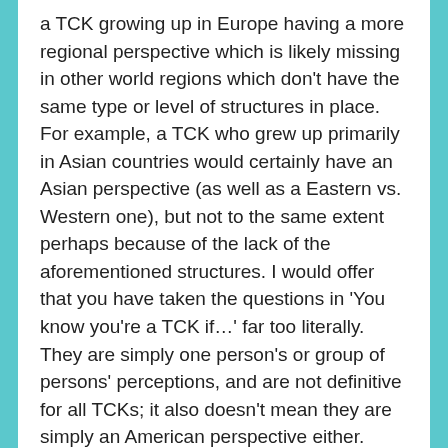a TCK growing up in Europe having a more regional perspective which is likely missing in other world regions which don't have the same type or level of structures in place. For example, a TCK who grew up primarily in Asian countries would certainly have an Asian perspective (as well as a Eastern vs. Western one), but not to the same extent perhaps because of the lack of the aforementioned structures. I would offer that you have taken the questions in 'You know you're a TCK if…' far too literally. They are simply one person's or group of persons' perceptions, and are not definitive for all TCKs; it also doesn't mean they are simply an American perspective either. Plenty of TCKs speak/write multiple languages and know how to spell correctly in each – that was a light-hearted attempt at humor.